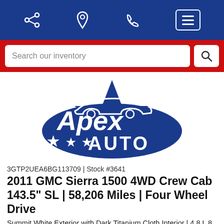[Figure (screenshot): Navigation bar with share, location, phone, and menu icons on dark blue background]
[Figure (screenshot): Red search bar with 'Search our inventory' text input and search icon button]
[Figure (logo): Apex Auto logo with car silhouette and stars on navy blue background]
3GTP2UEA6BG113709 | Stock #3641
2011 GMC Sierra 1500 4WD Crew Cab 143.5" SL | 58,206 Miles | Four Wheel Drive
Summit White Exterior with Dark Titanium Cloth Interior | 4.8 L 8 Cylinder Engine | Automatic Transmission
$18,995